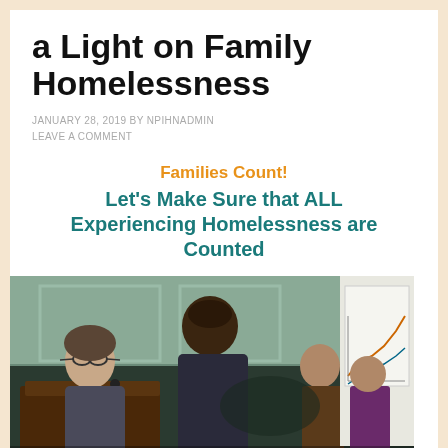a Light on Family Homelessness
JANUARY 28, 2019 BY NPIHNADMIN
LEAVE A COMMENT
Families Count!
Let’s Make Sure that ALL Experiencing Homelessness are Counted
[Figure (photo): Two people standing at a wooden podium in what appears to be a formal chamber. A woman with glasses is speaking at the microphone, and a tall Black man stands next to her. Others are visible in the background. A chart on a board is partially visible on the right side.]